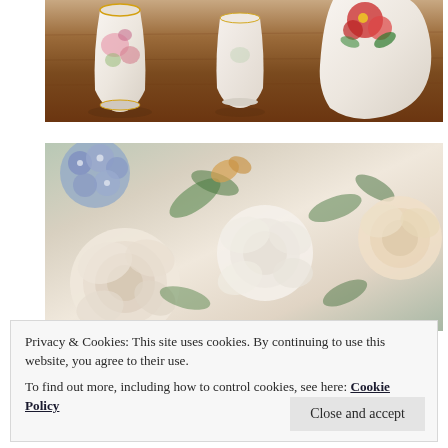[Figure (photo): Floral porcelain vases and decorative ceramics arranged on a dark wooden table surface. One vase has pink/rose floral decoration, another is plain white, and a third larger piece has red rose decoration.]
[Figure (photo): Close-up of floral fabric or wallpaper featuring large cream, peach and white roses with blue hydrangeas and green foliage on a light background.]
Privacy & Cookies: This site uses cookies. By continuing to use this website, you agree to their use.
To find out more, including how to control cookies, see here: Cookie Policy
Close and accept